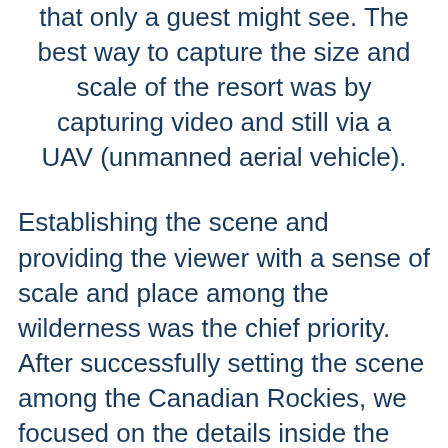that only a guest might see. The best way to capture the size and scale of the resort was by capturing video and still via a UAV (unmanned aerial vehicle).
Establishing the scene and providing the viewer with a sense of scale and place among the wilderness was the chief priority. After successfully setting the scene among the Canadian Rockies, we focused on the details inside the resort that make the Rimrock a world class luxury resort. From the 5 diamond restaurant, to couples